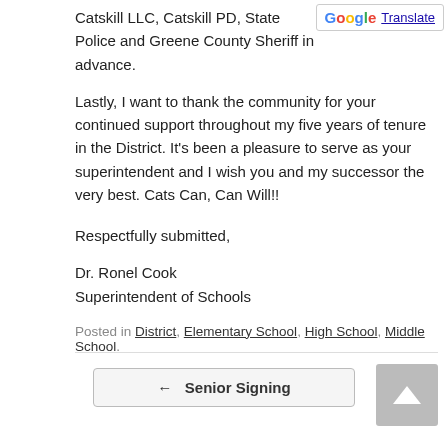Catskill LLC, Catskill PD, State Police and Greene County Sheriff in advance.
[Figure (other): Google Translate button in top-right corner]
Lastly, I want to thank the community for your continued support throughout my five years of tenure in the District. It’s been a pleasure to serve as your superintendent and I wish you and my successor the very best. Cats Can, Can Will!!
Respectfully submitted,
Dr. Ronel Cook
Superintendent of Schools
Posted in District, Elementary School, High School, Middle School.
← Senior Signing